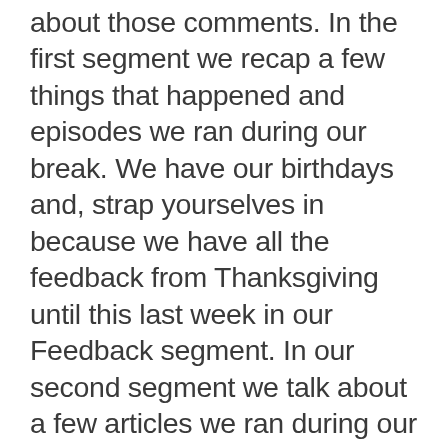about those comments. In the first segment we recap a few things that happened and episodes we ran during our break. We have our birthdays and, strap yourselves in because we have all the feedback from Thanksgiving until this last week in our Feedback segment. In our second segment we talk about a few articles we ran during our break as well as a few other tidbits. As always we welcome your feedback. Please let us know what you think. Good or bad, we want to know. Thank you for listening, we really do appreciate you taking time out of your day to spend with us.